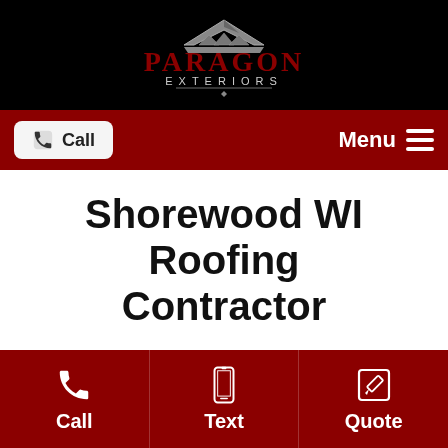[Figure (logo): Paragon Exteriors logo with roof/house icon and text]
[Figure (screenshot): Mobile website navigation bar with Call button and Menu toggle on dark red background]
Shorewood WI Roofing Contractor
[Figure (photo): Photo of a residential roof with chimney and trees in background]
[Figure (infographic): Bottom action bar with three buttons: Call (phone icon), Text (mobile icon), Quote (pencil icon) on dark red background]